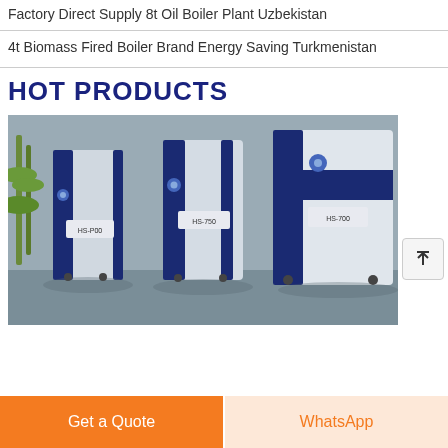Factory Direct Supply 8t Oil Boiler Plant Uzbekistan
4t Biomass Fired Boiler Brand Energy Saving Turkmenistan
HOT PRODUCTS
[Figure (photo): Three industrial boiler units (labeled HS-700, HS-750, HS-700 approximately) in blue and white colors displayed in a showroom setting with bamboo plant in background.]
Get a Quote
WhatsApp